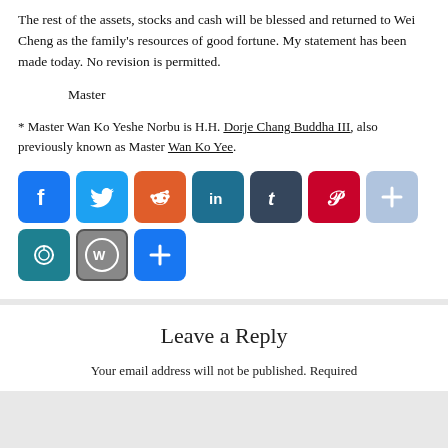The rest of the assets, stocks and cash will be blessed and returned to Wei Cheng as the family’s resources of good fortune. My statement has been made today. No revision is permitted.
Master
* Master Wan Ko Yeshe Norbu is H.H. Dorje Chang Buddha III, also previously known as Master Wan Ko Yee.
[Figure (infographic): Social media share buttons: Facebook, Twitter, Reddit, LinkedIn, Tumblr, Pinterest, Google+, Email, WordPress, and an additional share button]
Leave a Reply
Your email address will not be published. Required